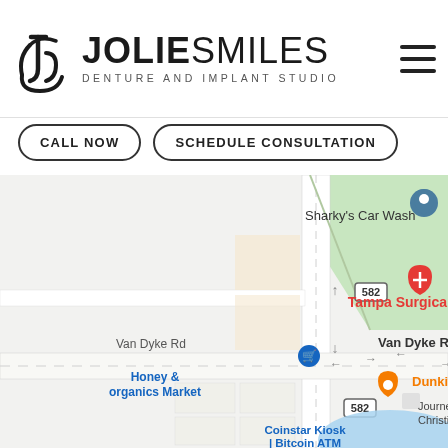[Figure (logo): Jolie Smiles Denture and Implant Studio logo with circular JS monogram icon on left and brand name text on right]
CALL NOW
SCHEDULE CONSULTATION
[Figure (map): Google Maps screenshot showing area around Van Dyke Rd with marked locations: Sharky's Car Wash (blue pin), Tampa Surgical Arts (red pin with medical cross), Honey & organics Market (blue text), Dunkin' (orange pin), Coinstar Kiosk | Bitcoin ATM, Journey Christian Church. Road 582 visible. Green area in top right. Blue water area in bottom right.]